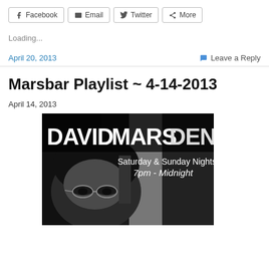[Figure (other): Social sharing buttons: Facebook, Email, Twitter, More]
Loading...
April 20, 2013    Leave a Reply
Marsbar Playlist ~ 4-14-2013
April 14, 2013
[Figure (photo): Black and white promotional image for David Marsden. Text reads: DAVID MARSDEN Saturday & Sunday Nights 7pm - Midnight. Shows a close-up of a man's face with glasses.]